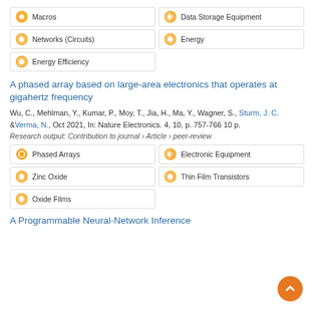Macros
Data Storage Equipment
Networks (Circuits)
Energy
Energy Efficiency
A phased array based on large-area electronics that operates at gigahertz frequency
Wu, C., Mehlman, Y., Kumar, P., Moy, T., Jia, H., Ma, Y., Wagner, S., Sturm, J. C. & Verma, N., Oct 2021, In: Nature Electronics. 4, 10, p. 757-766 10 p.
Research output: Contribution to journal › Article › peer-review
Phased Arrays
Electronic Equipment
Zinc Oxide
Thin Film Transistors
Oxide Films
A Programmable Neural-Network Inference